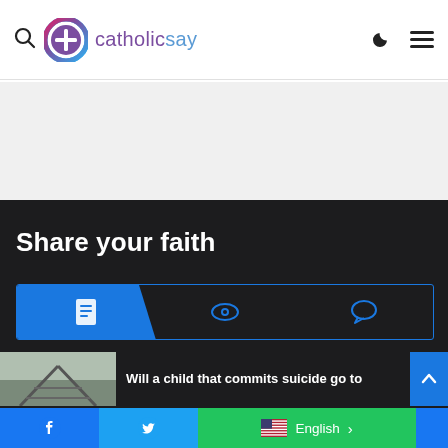catholicsay — navigation header with search, logo, dark mode, and menu icons
[Figure (logo): catholicsay logo: circular icon with cross and colorful gradient ring, followed by text 'catholicsay' in blue]
[Figure (other): Advertisement banner area (blank gray space)]
Share your faith
[Figure (other): Tab bar with three icon tabs: document icon (active/blue), eye icon, and comment icon]
[Figure (other): Article preview card with railroad track thumbnail image]
Will a child that commits suicide go to
Facebook | Twitter | English (language selector)